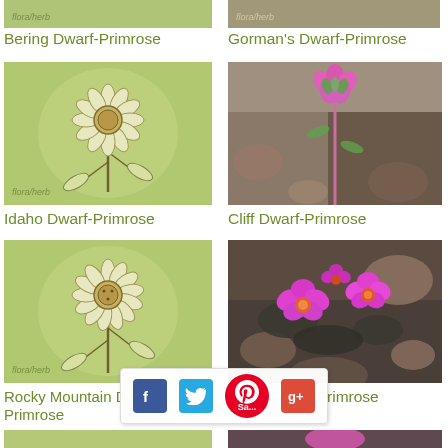[Figure (photo): Bering Dwarf-Primrose plant illustration with flora/herb watermark, partially visible at top]
Bering Dwarf-Primrose
[Figure (photo): Gorman's Dwarf-Primrose plant photo with flora/herb watermark, partially visible at top]
Gorman's Dwarf-Primrose
[Figure (illustration): Idaho Dwarf-Primrose botanical illustration of sunflower-like plant on green watercolor background with flora/herb watermark]
Idaho Dwarf-Primrose
[Figure (photo): Cliff Dwarf-Primrose pink flowers on rocky background, close-up photo]
Cliff Dwarf-Primrose
[Figure (illustration): Rocky Mountain Dwarf-Primrose botanical illustration of sunflower-like plant on green watercolor background with flora/herb watermark]
Rocky Mountain Dwarf-Primrose
[Figure (photo): Snow Dwarf-Primrose bright magenta/pink flowers among dark rocks, close-up photo]
Snow Dwarf-Primrose
[Figure (illustration): Partially visible plant illustration at bottom left]
[Figure (photo): Partially visible pink flower photo at bottom right]